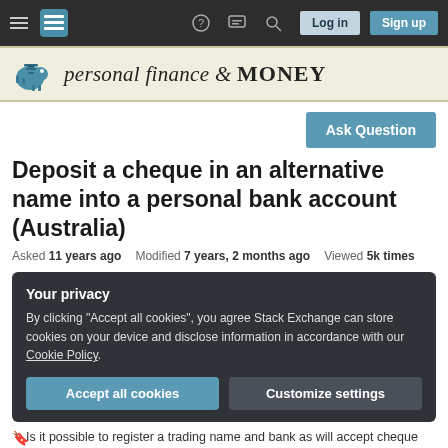[Figure (screenshot): Stack Exchange navigation bar with hamburger menu, logo, help icon, chat icon, search icon, Log in and Sign up buttons on dark background]
[Figure (logo): Personal Finance & MONEY Stack Exchange banner with piggy bank icon and stylized text]
Ask Question
Deposit a cheque in an alternative name into a personal bank account (Australia)
Asked 11 years ago   Modified 7 years, 2 months ago   Viewed 5k times
Your privacy
By clicking "Accept all cookies", you agree Stack Exchange can store cookies on your device and disclose information in accordance with our Cookie Policy.
Accept all cookies
Customize settings
Is it possible to register a trading name and bank as will accept cheque made out to that...